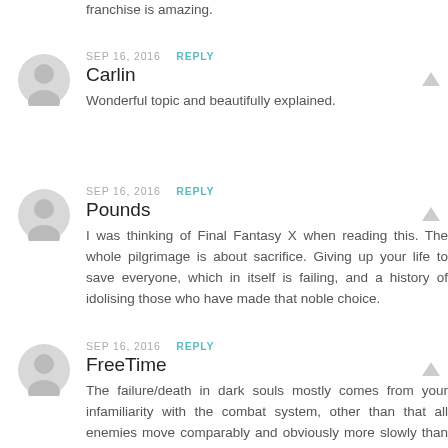franchise is amazing.
SEP 16, 2016  REPLY
Carlin
Wonderful topic and beautifully explained.
SEP 16, 2016  REPLY
Pounds
I was thinking of Final Fantasy X when reading this. The whole pilgrimage is about sacrifice. Giving up your life to save everyone, which in itself is failing, and a history of idolising those who have made that noble choice.
SEP 16, 2016  REPLY
FreeTime
The failure/death in dark souls mostly comes from your infamiliarity with the combat system, other than that all enemies move comparably and obviously more slowly than any other action game,, while